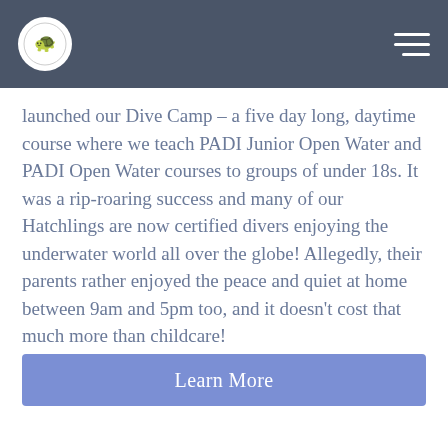Navigation header with logo and hamburger menu
launched our Dive Camp – a five day long, daytime course where we teach PADI Junior Open Water and PADI Open Water courses to groups of under 18s. It was a rip-roaring success and many of our Hatchlings are now certified divers enjoying the underwater world all over the globe! Allegedly, their parents rather enjoyed the peace and quiet at home between 9am and 5pm too, and it doesn't cost that much more than childcare!
Learn More